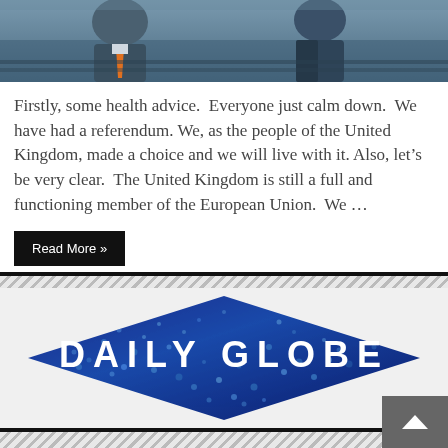[Figure (photo): Two men in suits at what appears to be a European Parliament or official chamber setting. The man on the left wears an orange tie.]
Firstly, some health advice.  Everyone just calm down.  We have had a referendum. We, as the people of the United Kingdom, made a choice and we will live with it. Also, let’s be very clear.  The United Kingdom is still a full and functioning member of the European Union.  We …
[Figure (logo): Daily Globe logo: white text 'DAILY GLOBE' on a diamond-shaped graphic with a blue world map/globe dotted pattern background.]